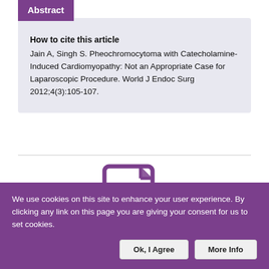Abstract
How to cite this article
Jain A, Singh S. Pheochromocytoma with Catecholamine-Induced Cardiomyopathy: Not an Appropriate Case for Laparoscopic Procedure. World J Endoc Surg 2012;4(3):105-107.
[Figure (illustration): Document icon with a small emblem/logo inside, styled in purple outline]
We use cookies on this site to enhance your user experience. By clicking any link on this page you are giving your consent for us to set cookies.